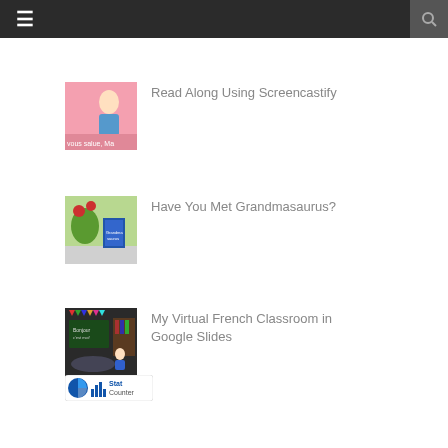Navigation bar with hamburger menu and search icon
[Figure (screenshot): Thumbnail image with pink background showing animated French teacher character with text 'vous salue, Ma...']
Read Along Using Screencastify
[Figure (photo): Thumbnail showing a book titled Grandmasaurus propped against flowers and plants on a table outdoors]
Have You Met Grandmasaurus?
[Figure (screenshot): Thumbnail showing a virtual classroom scene with chalkboard, bookshelves, and cartoon teacher avatar, with colorful bunting flags]
My Virtual French Classroom in Google Slides
[Figure (logo): StatCounter logo with blue pie-chart icon and bar chart icon and text 'Stat Counter']